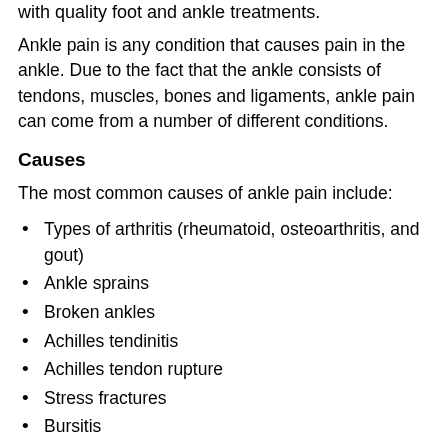with quality foot and ankle treatments.
Ankle pain is any condition that causes pain in the ankle. Due to the fact that the ankle consists of tendons, muscles, bones and ligaments, ankle pain can come from a number of different conditions.
Causes
The most common causes of ankle pain include:
Types of arthritis (rheumatoid, osteoarthritis, and gout)
Ankle sprains
Broken ankles
Achilles tendinitis
Achilles tendon rupture
Stress fractures
Bursitis
Tarsal tunnel syndrome
Plantar fasciitis